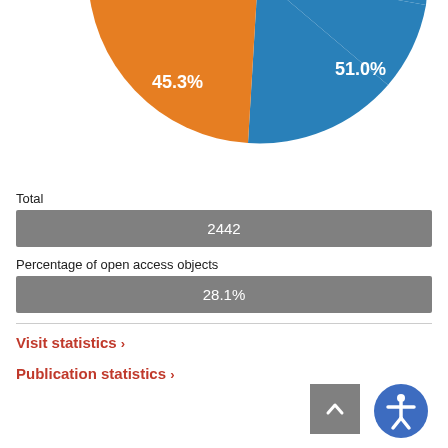[Figure (pie-chart): ]
Total
2442
Percentage of open access objects
28.1%
Visit statistics ›
Publication statistics ›